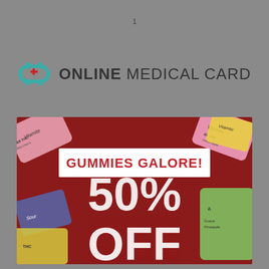1
[Figure (logo): Online Medical Card logo with teal infinity/link symbol and red cross, followed by bold text ONLINE MEDICAL CARD in dark gray]
[Figure (infographic): Promotional advertisement for cannabis gummies showing multiple THC gummy product packages (Wild Cherry, Sour, Guava Pineapple flavors) arranged on a dark red background with text GUMMIES GALORE! and 50% OFF in large white letters]